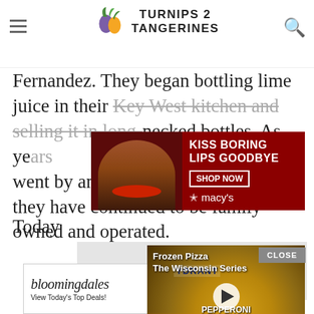TURNIPS 2 TANGERINES
Fernandez. They began bottling lime juice in their Key West kitchen and selling it in long-necked bottles. As years went by and the business evolved, they have continued to be family-owned and operated.
[Figure (photo): Macy's advertisement: KISS BORING LIPS GOODBYE - SHOP NOW]
Today
[Figure (screenshot): Video overlay: Frozen Pizza The Wisconsin Series - Pepperoni Pizza with play button]
[Figure (photo): Gray image placeholder]
[Figure (photo): Bloomingdale's advertisement: View Today's Top Deals! SHOP NOW >]
CLOSE